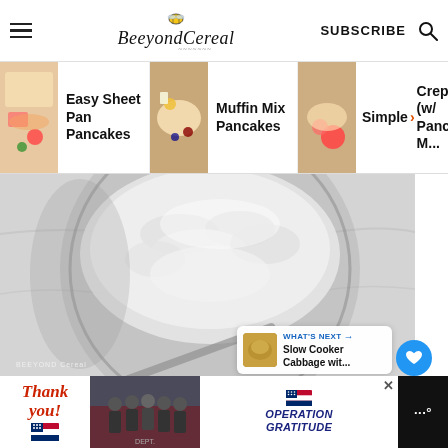BeeyondCereal — SUBSCRIBE
[Figure (screenshot): Navigation carousel with three recipe thumbnails: Easy Sheet Pan Pancakes, Muffin Mix Pancakes, Simple Crepe (w/ Pancake M...)]
[Figure (photo): Overhead photo of a glass jar filled with white flour/powder on a marble surface with a spoon]
[Figure (infographic): WHAT'S NEXT arrow panel showing 'Slow Cooker Cabbage wit...' with thumbnail]
[Figure (infographic): Advertisement banner: 'Thank you!' with Operation Gratitude branding and firefighters photo]